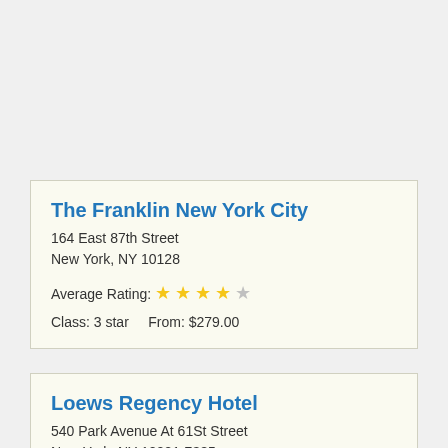The Franklin New York City
164 East 87th Street
New York, NY 10128
Average Rating: ★★★★☆
Class: 3 star    From: $279.00
Loews Regency Hotel
540 Park Avenue At 61St Street
New York, NY 10021-7385
Average Rating: